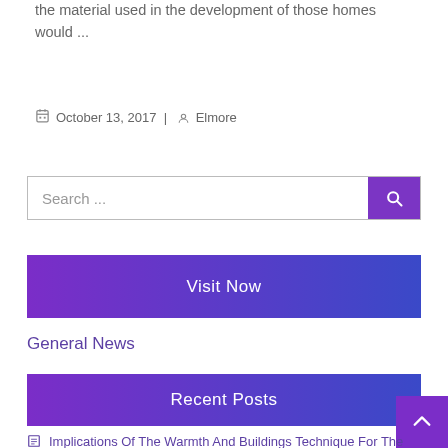the material used in the development of those homes would ...
October 13, 2017 | Elmore
Search ...
Visit Now
General News
Recent Posts
Implications Of The Warmth And Buildings Technique For The Uk Actual Estate Sector